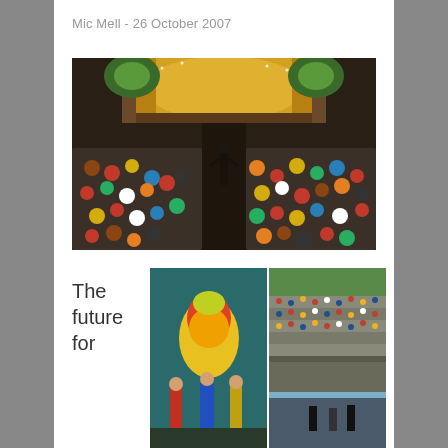Mic Mell  -  26 October 2007
[Figure (photo): Overhead view of a performer in black standing before a crowd of children seated on the floor in a theater with a golden yellow stage curtain and decorative arch.]
The future for
[Figure (photo): Colorful puppet/theater performance with vibrant costumes on stage.]
[Figure (photo): Aerial view of a large outdoor audience crowded in stadium-like seating.]